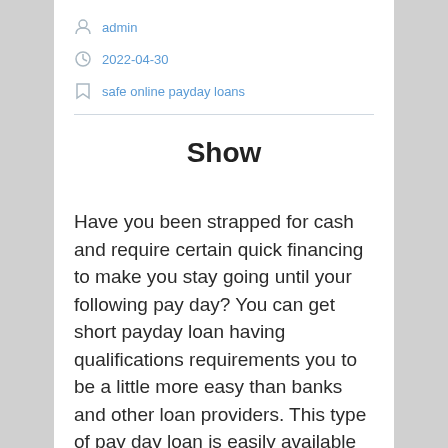admin
2022-04-30
safe online payday loans
Show
Have you been strapped for cash and require certain quick financing to make you stay going until your following pay day? You can get short payday loan having qualifications requirements you to be a little more easy than banks and other loan providers. This type of pay day loan is easily available and get an instant on the web application and you may